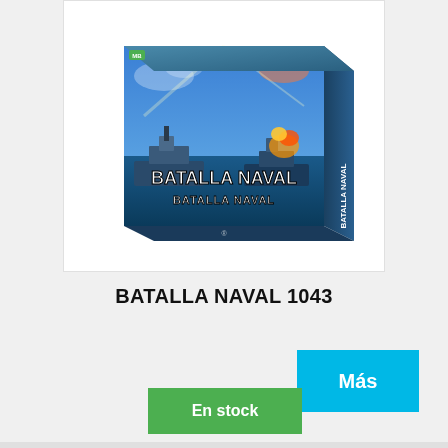[Figure (photo): Product box of 'Batalla Naval 1043' board game showing a naval battle scene with warships and the game title in bold white letters on the box.]
BATALLA NAVAL 1043
Más
En stock